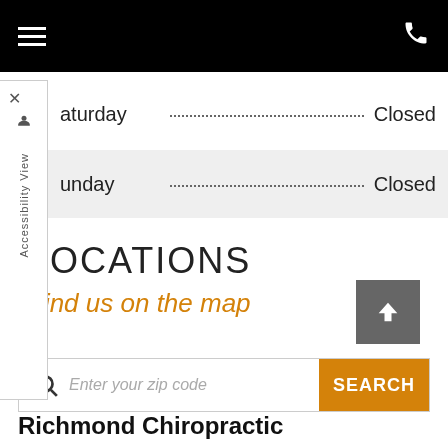Navigation header with hamburger menu and phone icon
Saturday ... Closed
Sunday ... Closed
LOCATIONS
Find us on the map
Enter your zip code SEARCH
Richmond Chiropractic